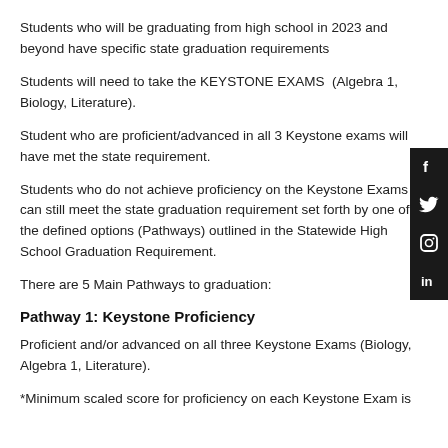Students who will be graduating from high school in 2023 and beyond have specific state graduation requirements
Students will need to take the KEYSTONE EXAMS (Algebra 1, Biology, Literature).
Student who are proficient/advanced in all 3 Keystone exams will have met the state requirement.
Students who do not achieve proficiency on the Keystone Exams can still meet the state graduation requirement set forth by one of the defined options (Pathways) outlined in the Statewide High School Graduation Requirement.
There are 5 Main Pathways to graduation:
Pathway 1: Keystone Proficiency
Proficient and/or advanced on all three Keystone Exams (Biology, Algebra 1, Literature).
*Minimum scaled score for proficiency on each Keystone Exam is